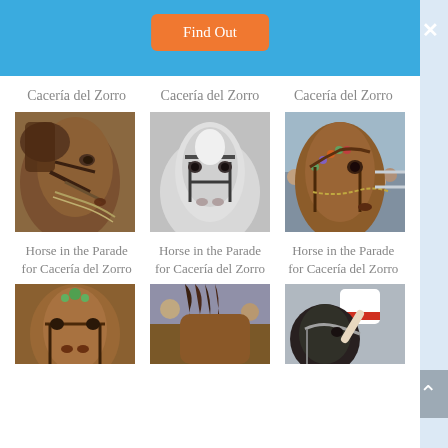Find Out
Cacería del Zorro
Cacería del Zorro
Cacería del Zorro
[Figure (photo): Close-up of a brown horse head with bridle and chain]
[Figure (photo): Close-up of a grey/white horse head with bridle]
[Figure (photo): Close-up of a brown horse head with decorative bridle and crowd in background]
Horse in the Parade for Cacería del Zorro
Horse in the Parade for Cacería del Zorro
Horse in the Parade for Cacería del Zorro
[Figure (photo): Brown horse face front view with bridle and green decoration]
[Figure (photo): Brown horse mane/back view with crowd]
[Figure (photo): Dark horse head with rider in white and red]